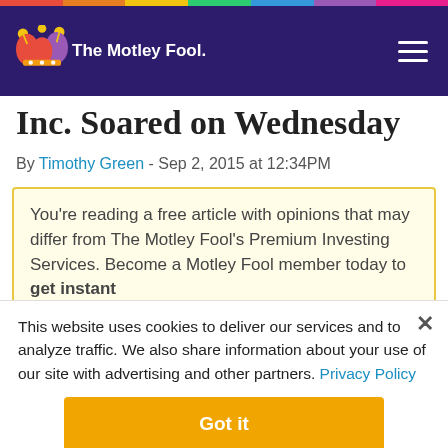The Motley Fool
Inc. Soared on Wednesday
By Timothy Green - Sep 2, 2015 at 12:34PM
You're reading a free article with opinions that may differ from The Motley Fool's Premium Investing Services. Become a Motley Fool member today to get instant
This website uses cookies to deliver our services and to analyze traffic. We also share information about your use of our site with advertising and other partners. Privacy Policy
Got it
Cookie Settings